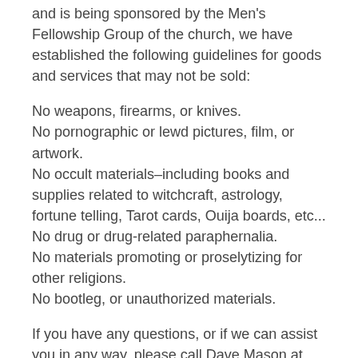and is being sponsored by the Men's Fellowship Group of the church, we have established the following guidelines for goods and services that may not be sold:
No weapons, firearms, or knives.
No pornographic or lewd pictures, film, or artwork.
No occult materials–including books and supplies related to witchcraft, astrology, fortune telling, Tarot cards, Ouija boards, etc...
No drug or drug-related paraphernalia.
No materials promoting or proselytizing for other religions.
No bootleg, or unauthorized materials.
If you have any questions, or if we can assist you in any way, please call Dave Mason at 774-240-0034.